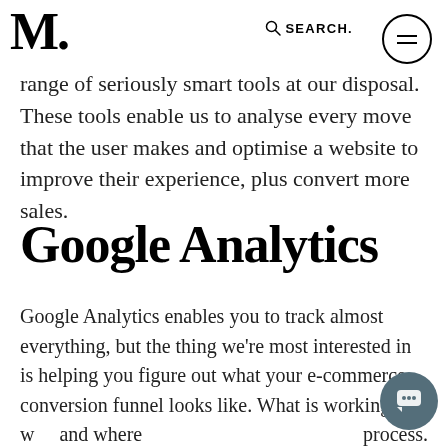M. SEARCH.
2019, is that we don't have to guess wildly how our users are using a website. We have a range of seriously smart tools at our disposal. These tools enable us to analyse every move that the user makes and optimise a website to improve their experience, plus convert more sales.
Google Analytics
Google Analytics enables you to track almost everything, but the thing we're most interested in is helping you figure out what your e-commerce conversion funnel looks like. What is working well and where process.